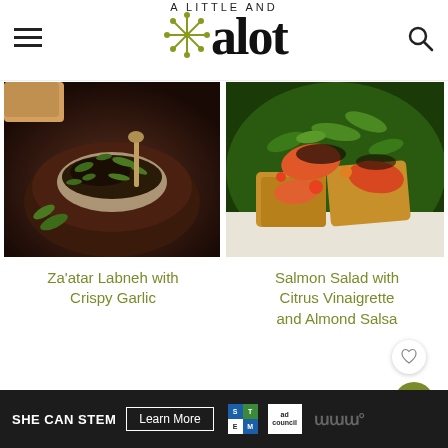A Little and A Lot - navigation header with hamburger menu, logo, and search icon
[Figure (photo): Bowl of Za'atar Labneh with Crispy Garlic - dark wooden bowl with green herb topping]
[Figure (photo): Salmon Salad with Citrus Vinaigrette and Almond Salsa - salmon and green salad on bread]
Za'atar Labneh with Crispy Garlic
Salmon Salad with Citrus Vinaigrette and Almond Salsa
Weekend Cooking
SHE CAN STEM  Learn More  [ad council logos]